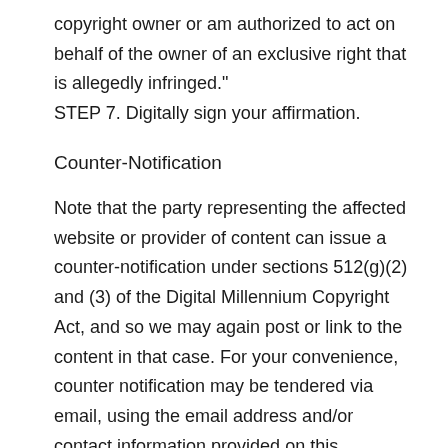copyright owner or am authorized to act on behalf of the owner of an exclusive right that is allegedly infringed."
STEP 7. Digitally sign your affirmation.
Counter-Notification
Note that the party representing the affected website or provider of content can issue a counter-notification under sections 512(g)(2) and (3) of the Digital Millennium Copyright Act, and so we may again post or link to the content in that case. For your convenience, counter notification may be tendered via email, using the email address and/or contact information provided on this website. We warn that you will be liable for any and